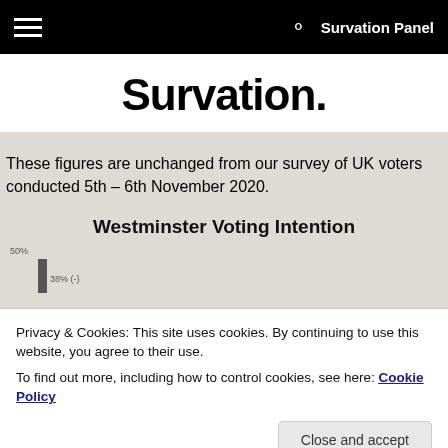Survation Panel
Survation.
These figures are unchanged from our survey of UK voters conducted 5th – 6th November 2020.
[Figure (continuous-plot): Partial view of Westminster Voting Intention chart, showing top of a bar at approximately 50% with label '50%' and partial bar label '38% (-)']
Privacy & Cookies: This site uses cookies. By continuing to use this website, you agree to their use.
To find out more, including how to control cookies, see here: Cookie Policy
Close and accept